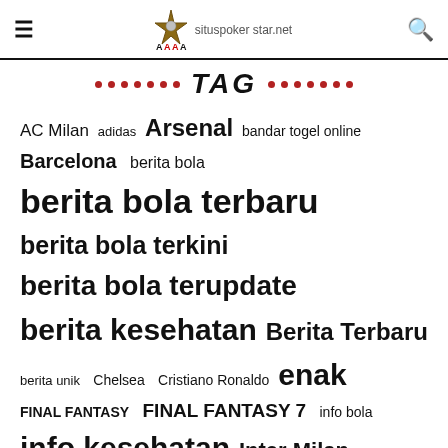situspokerstar.net [logo/header]
TAG
AC Milan adidas Arsenal bandar togel online Barcelona berita bola berita bola terbaru berita bola terkini berita bola terupdate berita kesehatan Berita Terbaru berita unik Chelsea Cristiano Ronaldo enak FINAL FANTASY FINAL FANTASY 7 info bola info kesehatan Inter Milan Juventus kesehatan Liverpool makanan